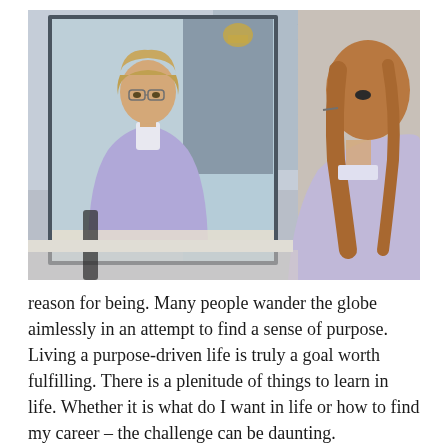[Figure (photo): A woman with blonde hair in a ponytail, wearing glasses and a purple/lavender sweater, leaning forward looking at her reflection in a mirror. The back of her head is visible on the right side of the image.]
reason for being. Many people wander the globe aimlessly in an attempt to find a sense of purpose. Living a purpose-driven life is truly a goal worth fulfilling. There is a plenitude of things to learn in life. Whether it is what do I want in life or how to find my career – the challenge can be daunting.